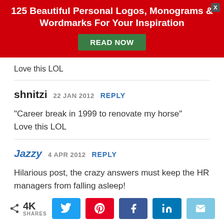[Figure (infographic): Red advertisement banner with white bold text: '125 Beautiful Personal Logos, Monograms & Wordmarks For Your Inspiration' and a green 'READ NOW' button. A close button (X) in gray is in the top right corner.]
Love this LOL
shnitzi  22 JAN 2012   REPLY

"Career break in 1999 to renovate my horse"
Love this LOL
Jazzy  4 APR 2012   REPLY

Hilarious post, the crazy answers must keep the HR managers from falling asleep!
[Figure (infographic): Social share bar with share icon, 4K SHARES count, and social media buttons for Twitter, Pinterest, Facebook, LinkedIn, and Email.]